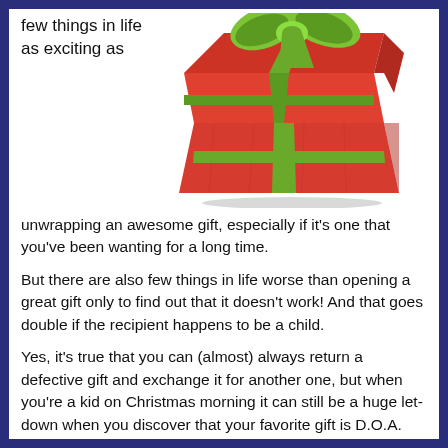few things in life as exciting as
[Figure (photo): A red gift box with a green ribbon and bow on top, on a white background]
unwrapping an awesome gift, especially if it's one that you've been wanting for a long time.

But there are also few things in life worse than opening a great gift only to find out that it doesn't work! And that goes double if the recipient happens to be a child.

Yes, it's true that you can (almost) always return a defective gift and exchange it for another one, but when you're a kid on Christmas morning it can still be a huge let-down when you discover that your favorite gift is D.O.A.

This is why I recommend testing all of your electronic